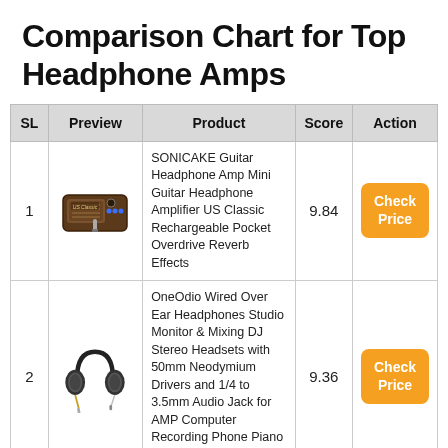Comparison Chart for Top Headphone Amps
| SL | Preview | Product | Score | Action |
| --- | --- | --- | --- | --- |
| 1 | [image] | SONICAKE Guitar Headphone Amp Mini Guitar Headphone Amplifier US Classic Rechargeable Pocket Overdrive Reverb Effects | 9.84 | Check Price |
| 2 | [image] | OneOdio Wired Over Ear Headphones Studio Monitor & Mixing DJ Stereo Headsets with 50mm Neodymium Drivers and 1/4 to 3.5mm Audio Jack for AMP Computer Recording Phone Piano Guitar Laptop – Black | 9.36 | Check Price |
| 3 | [image] | OneOdio Adapter-Free Over... |  |  |